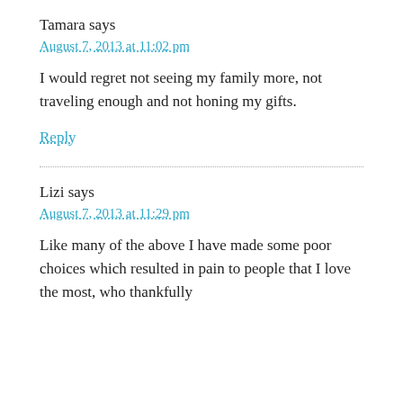Tamara says
August 7, 2013 at 11:02 pm
I would regret not seeing my family more, not traveling enough and not honing my gifts.
Reply
Lizi says
August 7, 2013 at 11:29 pm
Like many of the above I have made some poor choices which resulted in pain to people that I love the most, who thankfully